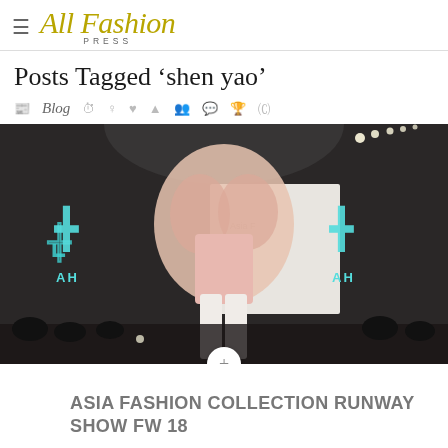All Fashion Press
Posts Tagged ‘shen yao’
Blog
[Figure (photo): Fashion runway show photo: a model in a pink floral fur coat and white trousers walks a dark runway with 'AH' logo signage on both sides. A white panel reads 'Asia F[ashion]'. Audience visible in the foreground.]
ASIA FASHION COLLECTION RUNWAY SHOW FW 18